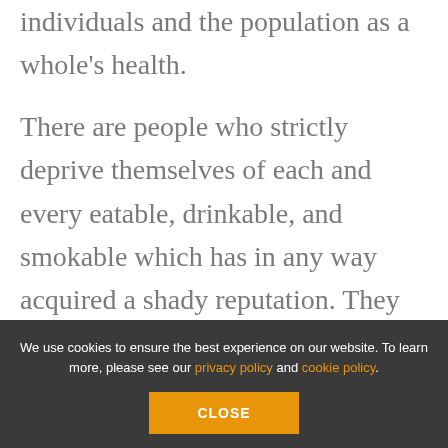individuals and the population as a whole's health.
There are people who strictly deprive themselves of each and every eatable, drinkable, and smokable which has in any way acquired a shady reputation. They pay this price for health. And health is all they get for it. Mark Twain.
We use cookies to ensure the best experience on our website. To learn more, please see our privacy policy and cookie policy.